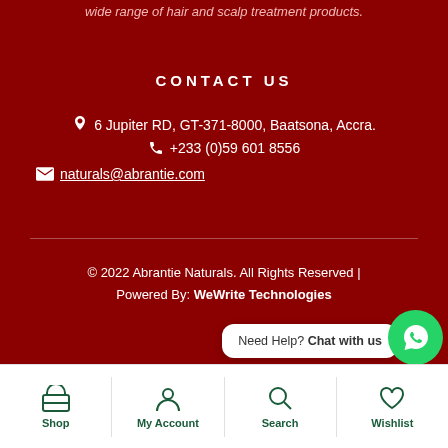wide range of hair and scalp treatment products.
CONTACT US
📍 6 Jupiter RD, GT-371-8000, Baatsona, Accra.
📞 +233 (0)59 601 8556
✉ naturals@abrantie.com
© 2022 Abrantie Naturals. All Rights Reserved | Powered By: WeWrite Technologies
Need Help? Chat with us
Shop   My Account   Search   Wishlist